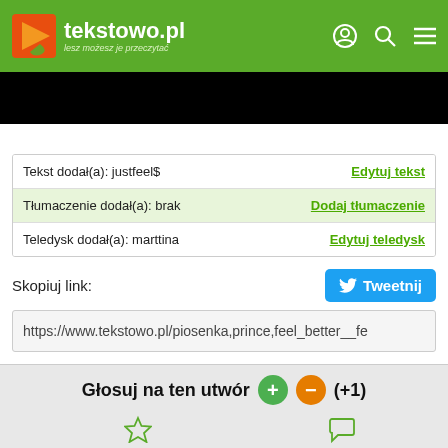tekstowo.pl – lesz możesz je przeczytać
[Figure (screenshot): Black banner / video placeholder area]
| Tekst dodał(a): justfeel$ | Edytuj tekst |
| Tłumaczenie dodał(a): brak | Dodaj tłumaczenie |
| Teledysk dodał(a): marttina | Edytuj teledysk |
Skopiuj link:
https://www.tekstowo.pl/piosenka,prince,feel_better__fe
Głosuj na ten utwór (+1)
Dodaj do ulubionych
Komentuj